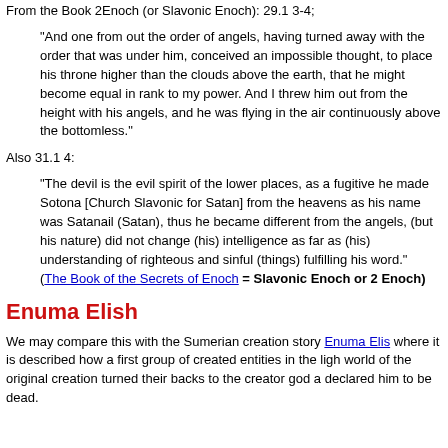From the Book 2Enoch (or Slavonic Enoch): 29.1 3-4;
"And one from out the order of angels, having turned away with the order that was under him, conceived an impossible thought, to place his throne higher than the clouds above the earth, that he might become equal in rank to my power. And I threw him out from the height with his angels, and he was flying in the air continuously above the bottomless."
Also 31.1 4:
"The devil is the evil spirit of the lower places, as a fugitive he made Sotona [Church Slavonic for Satan] from the heavens as his name was Satanail (Satan), thus he became different from the angels, (but his nature) did not change (his) intelligence as far as (his) understanding of righteous and sinful (things) fulfilling his word." (The Book of the Secrets of Enoch = Slavonic Enoch or 2 Enoch)
Enuma Elish
We may compare this with the Sumerian creation story Enuma Elish where it is described how a first group of created entities in the light world of the original creation turned their backs to the creator god and declared him to be dead.